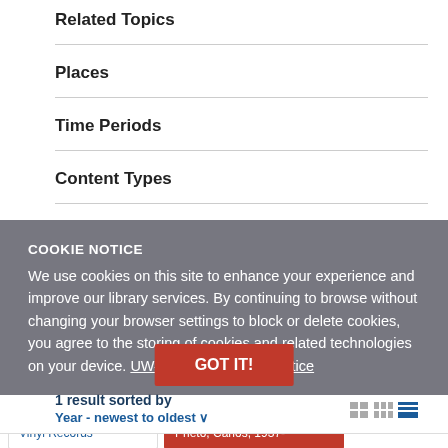Related Topics
Places
Time Periods
Content Types
COOKIE NOTICE
We use cookies on this site to enhance your experience and improve our library services. By continuing to browse without changing your browser settings to block or delete cookies, you agree to the storing of cookies and related technologies on your device. UW–Madison Privacy Notice
1 result sorted by
Year - newest to oldest
GOT IT!
MEDIA
Vinyl Records
AUTHORS
Prieto, Carlos, 1937-